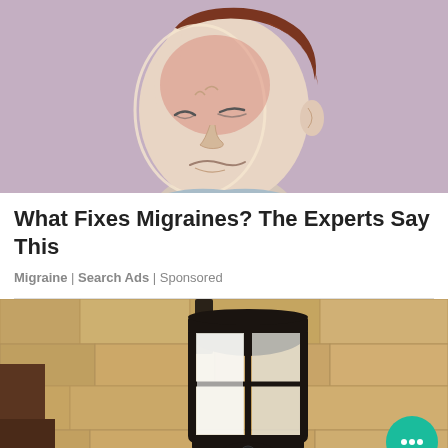[Figure (illustration): Illustrated image of a man grimacing in pain with a highlighted oval area on the left side of his head/face indicating migraine pain, on a purple-pink background]
What Fixes Migraines? The Experts Say This
Migraine | Search Ads | Sponsored
[Figure (photo): Photo of an outdoor wall-mounted lamp/lantern in black metal frame with a security camera at the bottom, mounted on a textured stone/stucco wall]